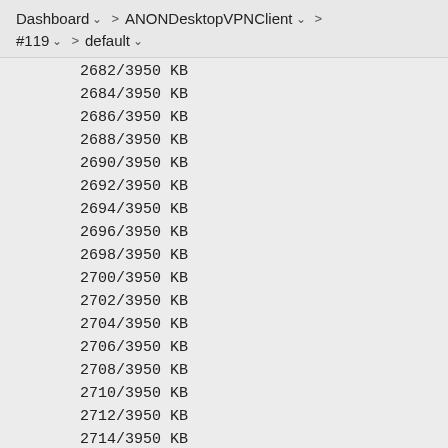Dashboard > ANONDesktopVPNClient > #119 > default
2682/3950 KB
2684/3950 KB
2686/3950 KB
2688/3950 KB
2690/3950 KB
2692/3950 KB
2694/3950 KB
2696/3950 KB
2698/3950 KB
2700/3950 KB
2702/3950 KB
2704/3950 KB
2706/3950 KB
2708/3950 KB
2710/3950 KB
2712/3950 KB
2714/3950 KB
2716/3950 KB